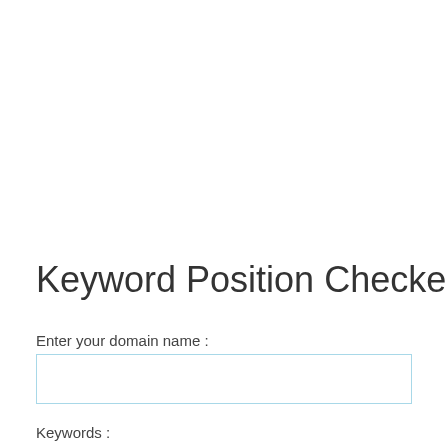Keyword Position Checker
Enter your domain name :
Keywords :